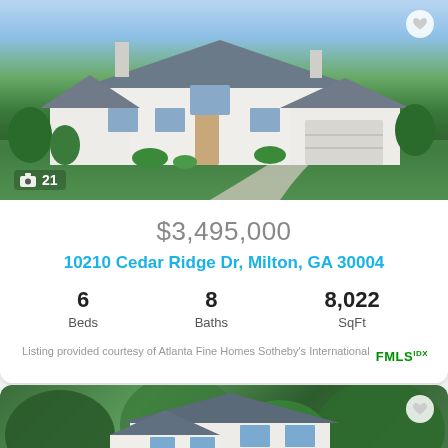[Figure (photo): Aerial/front view of large white luxury home with grey roof, circular driveway, green landscaping and trees]
21
$3,495,000
10210 Cedar Ridge Dr, Milton, GA 30004
6 Beds  8 Baths  8,022 SqFt
Listing provided courtesy of Atlanta Fine Homes Sotheby's International FMLS IDX
[Figure (photo): Aerial view of large white two-story home surrounded by lush green trees]